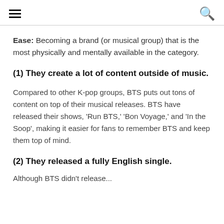≡  🔍
Ease: Becoming a brand (or musical group) that is the most physically and mentally available in the category.
(1) They create a lot of content outside of music.
Compared to other K-pop groups, BTS puts out tons of content on top of their musical releases. BTS have released their shows, 'Run BTS,' 'Bon Voyage,' and 'In the Soop', making it easier for fans to remember BTS and keep them top of mind.
(2) They released a fully English single.
Although BTS didn't release...